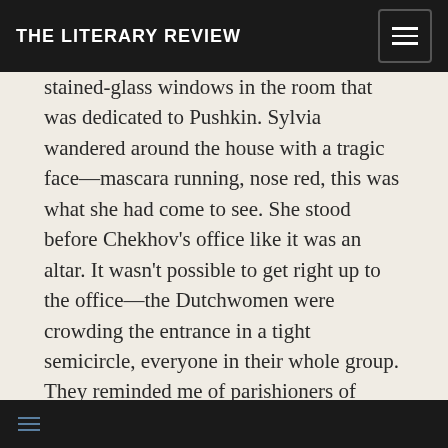THE LITERARY REVIEW
stained-glass windows in the room that was dedicated to Pushkin. Sylvia wandered around the house with a tragic face—mascara running, nose red, this was what she had come to see. She stood before Chekhov's office like it was an altar. It wasn't possible to get right up to the office—the Dutchwomen were crowding the entrance in a tight semicircle, everyone in their whole group. They reminded me of parishioners of some obscure church, sisters of a secret sect: the Order of Chekhov Fangirls. They stood completely still, with serious, solemn faces. One was crying silently, her back